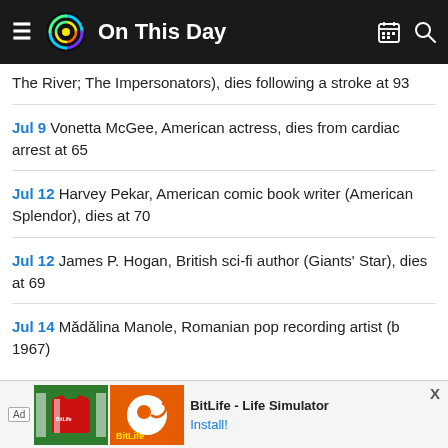On This Day
The River; The Impersonators), dies following a stroke at 93
Jul 9 Vonetta McGee, American actress, dies from cardiac arrest at 65
Jul 12 Harvey Pekar, American comic book writer (American Splendor), dies at 70
Jul 12 James P. Hogan, British sci-fi author (Giants' Star), dies at 69
Jul 14 Mădălina Manole, Romanian pop recording artist (b. 1967)
[Figure (screenshot): BitLife - Life Simulator advertisement banner at bottom of screen]